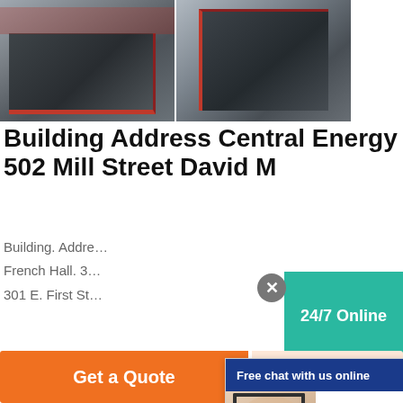[Figure (photo): Two industrial crusher machines in a factory/warehouse setting. Left image shows a large cone/jaw crusher on a factory floor with red overhead cranes visible. Right image shows a large impact crusher machine with red accent details.]
Building Address Central Energy Plant 502 Mill Street David M
Building. Addre...
French Hall. 3...
301 E. First St...
Get Price
[Figure (photo): Outdoor scene with machinery/equipment on grass or terrain]
[Figure (screenshot): Live chat popup overlay with header 'Free chat with us online', a female customer service agent with headset, and a CHAT NOW button]
[Figure (infographic): Right-side panel showing 24/7 Online support widget with teal background, a close X button, agent photo, 'Have any requests, click here.' text, and a Quotation button]
Get a Quote
WhatsApp